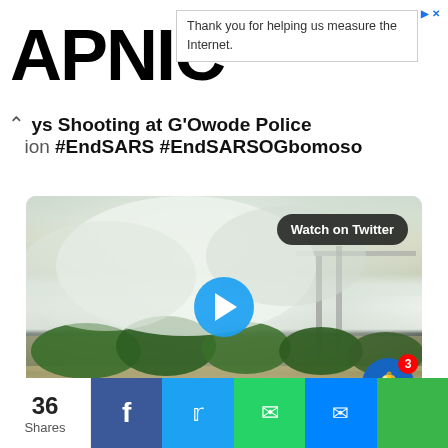APNIC
Thank you for helping us measure the Internet.
ys Shooting at G'Owode Police ion #EndSARS #EndSARSOGbomoso
[Figure (screenshot): Video thumbnail showing smoke or tear gas dispersed at a road scene with trees and a bridge visible, with a 'Watch on Twitter' button overlaid and a play button in the center.]
36
Shares